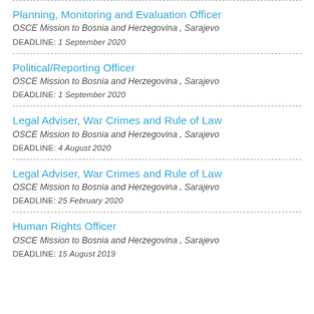Planning, Monitoring and Evaluation Officer
OSCE Mission to Bosnia and Herzegovina , Sarajevo
DEADLINE: 1 September 2020
Political/Reporting Officer
OSCE Mission to Bosnia and Herzegovina , Sarajevo
DEADLINE: 1 September 2020
Legal Adviser, War Crimes and Rule of Law
OSCE Mission to Bosnia and Herzegovina , Sarajevo
DEADLINE: 4 August 2020
Legal Adviser, War Crimes and Rule of Law
OSCE Mission to Bosnia and Herzegovina , Sarajevo
DEADLINE: 25 February 2020
Human Rights Officer
OSCE Mission to Bosnia and Herzegovina , Sarajevo
DEADLINE: 15 August 2019